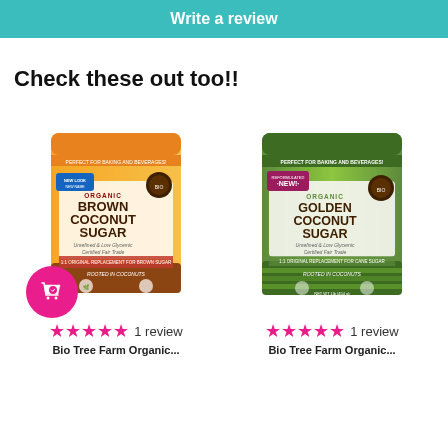Write a review
Check these out too!!
[Figure (photo): Organic Brown Coconut Sugar product bag with orange and yellow packaging, with a pink shopping cart badge in the bottom left]
★★★★★ 1 review
Bio Tree Farm Organic...
[Figure (photo): Organic Golden Coconut Sugar product bag with green packaging and NEW label]
★★★★★ 1 review
Bio Tree Farm Organic...